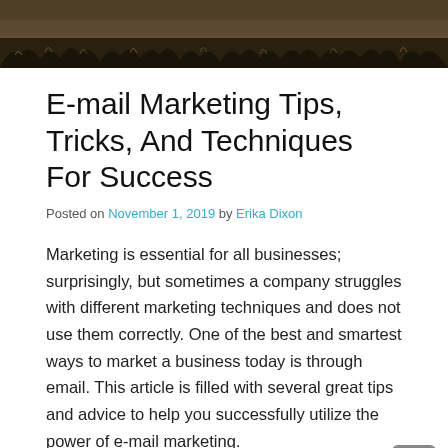[Figure (photo): Sepia-toned photo of dry grass or wheat field with dark silhouettes, banner image at top of page]
E-mail Marketing Tips, Tricks, And Techniques For Success
Posted on November 1, 2019 by Erika Dixon
Marketing is essential for all businesses; surprisingly, but sometimes a company struggles with different marketing techniques and does not use them correctly. One of the best and smartest ways to market a business today is through email. This article is filled with several great tips and advice to help you successfully utilize the power of e-mail marketing.
Do not annoy your subscribers "Buy Now." Your